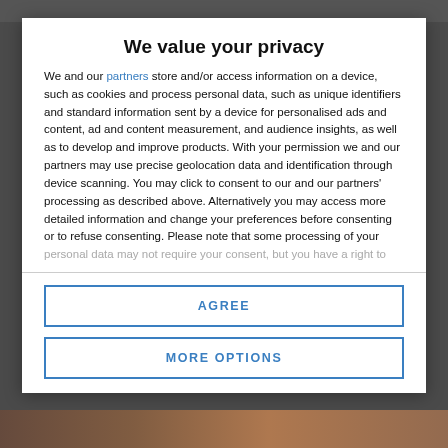We value your privacy
We and our partners store and/or access information on a device, such as cookies and process personal data, such as unique identifiers and standard information sent by a device for personalised ads and content, ad and content measurement, and audience insights, as well as to develop and improve products. With your permission we and our partners may use precise geolocation data and identification through device scanning. You may click to consent to our and our partners' processing as described above. Alternatively you may access more detailed information and change your preferences before consenting or to refuse consenting. Please note that some processing of your personal data may not require your consent, but you have a right to
AGREE
MORE OPTIONS
[Figure (photo): Photo strip visible at bottom of page behind modal overlay]